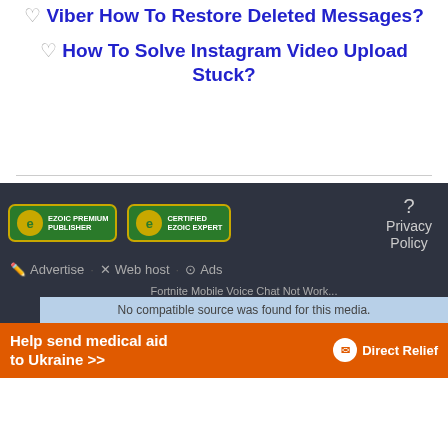♡ Viber How To Restore Deleted Messages?
♡ How To Solve Instagram Video Upload Stuck?
[Figure (logo): Ezoic Premium Publisher badge]
[Figure (logo): Certified Ezoic Expert badge]
? Privacy Policy
✎ Advertise · ✕ Web host · ⊙ Ads
Fortnite Mobile Voice Chat Not Work...
No compatible source was found for this media.
[Figure (infographic): Help send medical aid to Ukraine - Direct Relief ad banner]